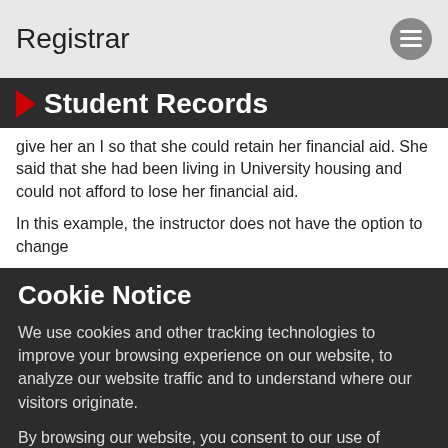Registrar
Student Records
give her an I so that she could retain her financial aid. She said that she had been living in University housing and could not afford to lose her financial aid.
In this example, the instructor does not have the option to change
Cookie Notice
We use cookies and other tracking technologies to improve your browsing experience on our website, to analyze our website traffic and to understand where our visitors originate.
By browsing our website, you consent to our use of cookies and other tracking technologies. For more about the information SIUE collects, visit our Web Privacy Notice.